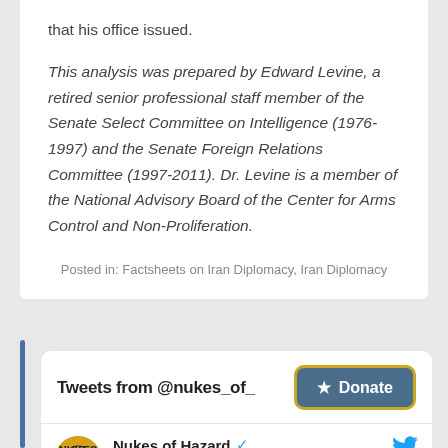that his office issued.
This analysis was prepared by Edward Levine, a retired senior professional staff member of the Senate Select Committee on Intelligence (1976-1997) and the Senate Foreign Relations Committee (1997-2011). Dr. Levine is a member of the National Advisory Board of the Center for Arms Control and Non-Proliferation.
Posted in: Factsheets on Iran Diplomacy, Iran Diplomacy
[Figure (screenshot): Twitter widget showing Tweets from @nukes_of_ with a Donate button and a tweet from Nukes of Hazard @nukes_of_hazard 4h]